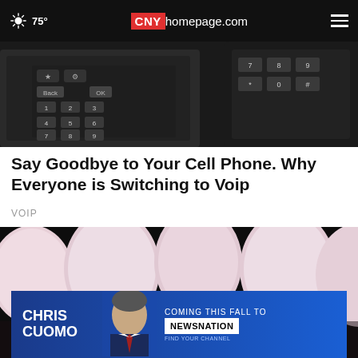75° CNYhomepage.com
[Figure (photo): Close-up photo of cordless phone keypads with numeric buttons on dark background]
Say Goodbye to Your Cell Phone.  Why Everyone is Switching to Voip
VOIP
[Figure (photo): Medical illustration of dental implants - pink/white tooth crowns with metal implant post visible, dark background]
[Figure (photo): Advertisement banner: Chris Cuomo Coming This Fall to NewsNation - Find Your Channel]